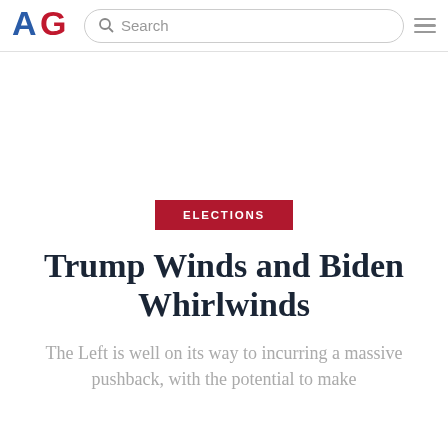AG [logo] Search [menu]
[Figure (logo): American Greatness (AG) logo in red and blue]
ELECTIONS
Trump Winds and Biden Whirlwinds
The Left is well on its way to incurring a massive pushback, with the potential to make